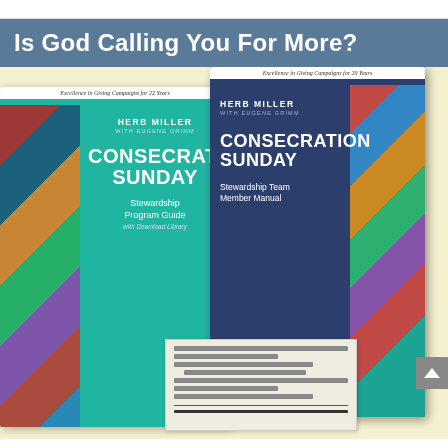Is God Calling You For More?
[Figure (photo): Two book covers for 'Consecration Sunday' by Herb Miller with Eugene Grimm — one teal cover titled 'Stewardship Program Guide with Download Library' and one navy blue cover titled 'Stewardship Team Member Manual' — with stained glass imagery, plus a small pledge card or envelope in the foreground, on a light cream background.]